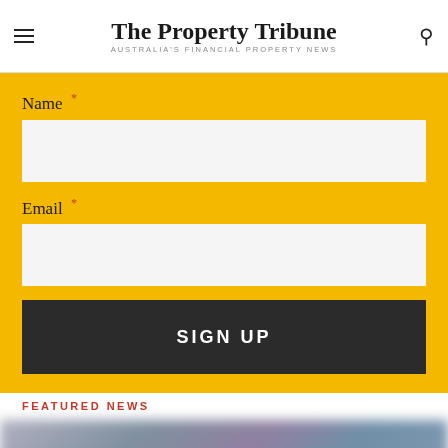The Property Tribune — AUSTRALIA'S FINANCIAL PROPERTY NEWS
Name *
Email *
SIGN UP
FEATURED NEWS
[Figure (photo): Blurred image below FEATURED NEWS section heading]